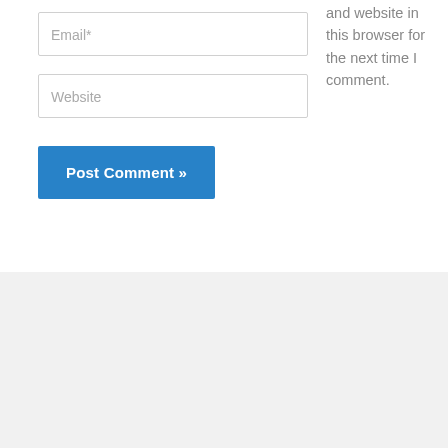and website in this browser for the next time I comment.
Email*
Website
Post Comment »
Search …
Recent Posts
CSBC Bihar Police Fireman Exam Result 2022 for 2380 Posts | Bihar Police Fireman Result 2022